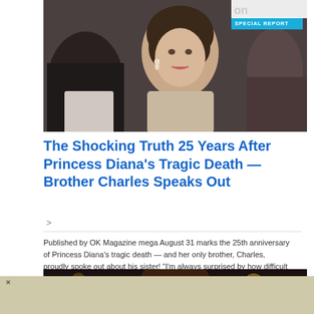[Figure (photo): Photo of Princess Diana at a formal event, wearing earrings, with a man in a suit partially visible behind her. A 'SPECIAL REPORT' badge visible in top-right corner.]
The Shocking Truth 25 Years After Princess Diana's Tragic Death — Brother Charles Speaks Out
Published by OK Magazine mega August 31 marks the 25th anniversary of Princess Diana's tragic death — and her only brother, Charles, proudly spoke out about his sister! "I'm always surprised by how difficult August 31 … Read More »
[Figure (photo): Dark photo of a man (partially visible, appears to be waving) against a blurred background with warm bokeh lights.]
[Figure (other): Beige/tan advertisement area at the bottom of the page with a close (x) button.]